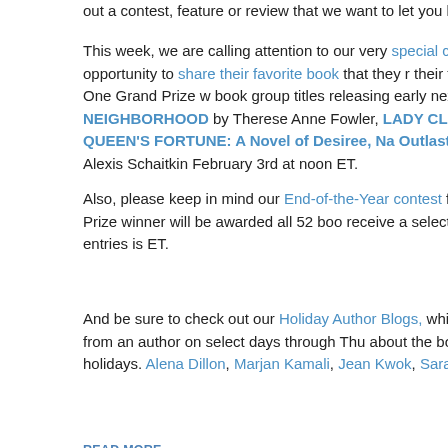out a contest, feature or review that we want to let you know about so yo
This week, we are calling attention to our very special contest on Readin are giving readers the opportunity to share their favorite book that they r their favorite book that they read outside their group. One Grand Prize w book group titles releasing early next year: AMERICAN DIRT by Jeanine NEIGHBORHOOD by Therese Anne Fowler, LADY CLEMENTINE by Ma RIVER by Liz Moore, THE QUEEN'S FORTUNE: A Novel of Desiree, Na Outlasted the Empire by Allison Pataki, and SAINT X by Alexis Schaitkin February 3rd at noon ET.
Also, please keep in mind our End-of-the-Year contest featuring Carol Fi On picks from 2019. One Grand Prize winner will be awarded all 52 boo receive a selection of four of these titles. The deadline for your entries is ET.
And be sure to check out our Holiday Author Blogs, which have returned are featuring a new blog post from an author on select days through Thu about the books that she has given and/or received during the holidays. Alena Dillon, Marjan Kamali, Jean Kwok, Sarah McCoy, Liz Moore, Kim and Karen White.
READ MORE »
December 10, 2019
In this newsletter, you will find books releasing the weeks of December 9